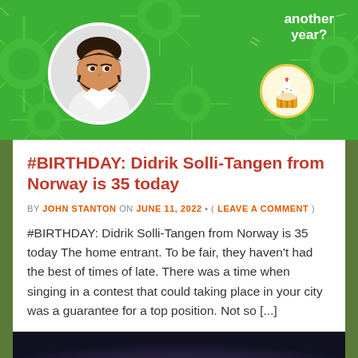[Figure (illustration): Green birthday banner with starburst decorations, a circular profile photo of a man with dark hair and beard, text reading 'another year?' and a cupcake illustration in a circle on the right side.]
#BIRTHDAY: Didrik Solli-Tangen from Norway is 35 today
BY JOHN STANTON ON JUNE 11, 2022 • ( LEAVE A COMMENT )
#BIRTHDAY: Didrik Solli-Tangen from Norway is 35 today The home entrant. To be fair, they haven't had the best of times of late. There was a time when singing in a contest that could taking place in your city was a guarantee for a top position. Not so [...]
[Figure (photo): Bottom portion of a photo showing a person's head/hair against a dark blurred background.]